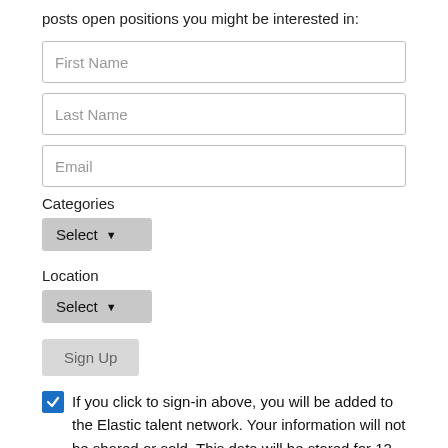posts open positions you might be interested in:
First Name
Last Name
Email
Categories
Select
Location
Select
Sign Up
If you click to sign-in above, you will be added to the Elastic talent network. Your information will not be shared or sold. This data will be stored for 12 months at which point it will be automatically deleted. If you want to be removed from